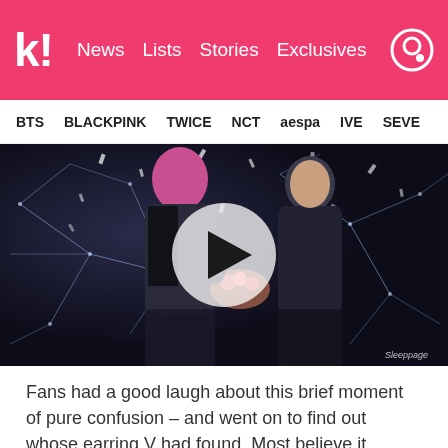k! News Lists Stories Exclusives
BTS BLACKPINK TWICE NCT aespa IVE SEVE
[Figure (photo): Video thumbnail showing people at an awards show with confetti falling, dark background with geometric light patterns, play button overlay in center, watermark 'Sleeppage' in bottom right]
Fans had a good laugh about this brief moment of pure confusion – and went on to find out whose earring V had found. Most believe it belonged to Red Velvet's Wendy, who was seen wearing a similar style of earrings earlier